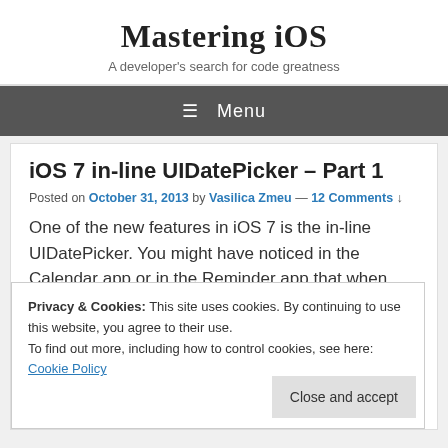Mastering iOS
A developer's search for code greatness
≡  Menu
iOS 7 in-line UIDatePicker – Part 1
Posted on October 31, 2013 by Vasilica Zmeu — 12 Comments ↓
One of the new features in iOS 7 is the in-line UIDatePicker. You might have noticed in the Calendar app or in the Reminder app that when you want to select a date for your event, instead of seeing the date picker pop up like the keyboard, now you see it below the cell that contains the date. This is how it looks like in the Calendar app:
Privacy & Cookies: This site uses cookies. By continuing to use this website, you agree to their use. To find out more, including how to control cookies, see here: Cookie Policy
Close and accept